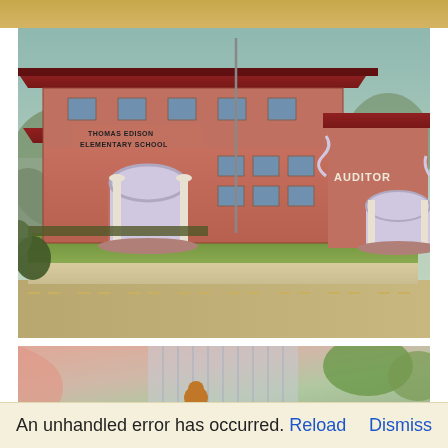[Figure (illustration): Animated cartoon illustration of Thomas Edison Elementary School, a red brick building with terracotta roof, white columns, arched entrances, auditorium wing visible on right, flagpole, surrounding grass and sidewalk, viewed from aerial perspective.]
[Figure (illustration): Bottom portion of another animated scene showing pink/peach and green tones with a small round brown figure at the bottom center.]
An unhandled error has occurred. Reload Dismiss